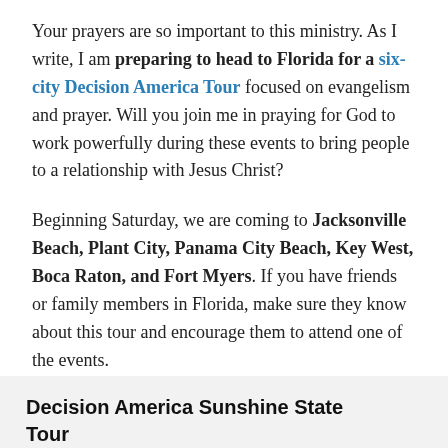Your prayers are so important to this ministry. As I write, I am preparing to head to Florida for a six-city Decision America Tour focused on evangelism and prayer. Will you join me in praying for God to work powerfully during these events to bring people to a relationship with Jesus Christ?
Beginning Saturday, we are coming to Jacksonville Beach, Plant City, Panama City Beach, Key West, Boca Raton, and Fort Myers. If you have friends or family members in Florida, make sure they know about this tour and encourage them to attend one of the events.
Decision America Sunshine State Tour